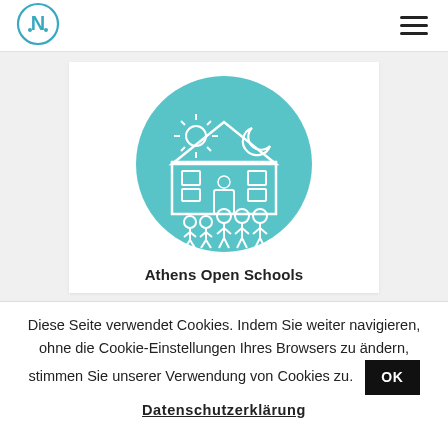[Figure (logo): Circular logo with letter N and network/node design, blue outline on white background]
[Figure (illustration): Teal circular icon showing a school building with sun and moon symbols, and people (adults and children) standing in front]
Athens Open Schools
Diese Seite verwendet Cookies. Indem Sie weiter navigieren, ohne die Cookie-Einstellungen Ihres Browsers zu ändern, stimmen Sie unserer Verwendung von Cookies zu.
OK
Datenschutzerklärung